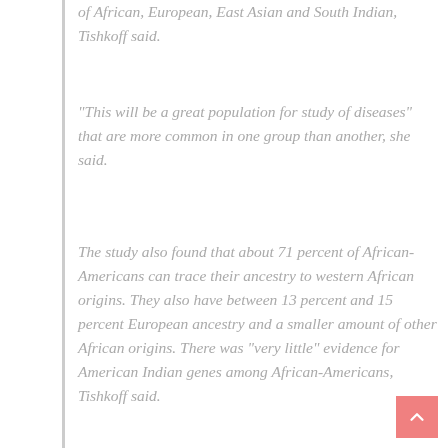of African, European, East Asian and South Indian, Tishkoff said.
"This will be a great population for study of diseases" that are more common in one group than another, she said.
The study also found that about 71 percent of African-Americans can trace their ancestry to western African origins. They also have between 13 percent and 15 percent European ancestry and a smaller amount of other African origins. There was "very little" evidence for American Indian genes among African-Americans, Tishkoff said.